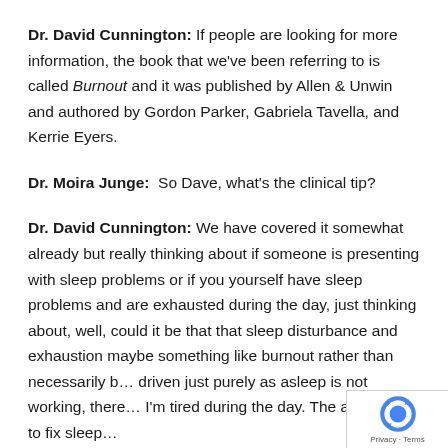Dr. David Cunnington: If people are looking for more information, the book that we've been referring to is called Burnout and it was published by Allen & Unwin and authored by Gordon Parker, Gabriela Tavella, and Kerrie Eyers.
Dr. Moira Junge: So Dave, what's the clinical tip?
Dr. David Cunnington: We have covered it somewhat already but really thinking about if someone is presenting with sleep problems or if you yourself have sleep problems and are exhausted during the day, just thinking about, well, could it be that that sleep disturbance and exhaustion maybe something like burnout rather than necessarily b… driven just purely as asleep is not working, there… I'm tired during the day. The answer is to fix sleep…